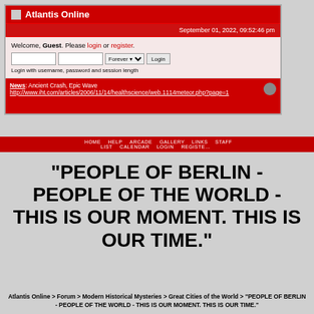Atlantis Online
September 01, 2022, 09:52:46 pm
Welcome, Guest. Please login or register. Login with username, password and session length
News: Ancient Crash, Epic Wave http://www.iht.com/articles/2006/11/14/healthscience/web.1114meteor.php?page=1
HOME  HELP  ARCADE  GALLERY  LINKS  STAFF LIST  CALENDAR  LOGIN  REGISTER
"PEOPLE OF BERLIN - PEOPLE OF THE WORLD - THIS IS OUR MOMENT. THIS IS OUR TIME."
Atlantis Online > Forum > Modern Historical Mysteries > Great Cities of the World > "PEOPLE OF BERLIN - PEOPLE OF THE WORLD - THIS IS OUR MOMENT. THIS IS OUR TIME."